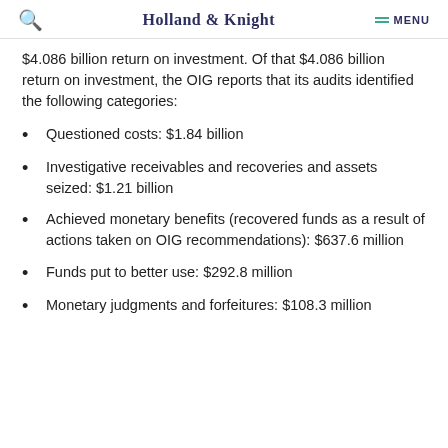Holland & Knight  MENU
$4.086 billion return on investment. Of that $4.086 billion return on investment, the OIG reports that its audits identified the following categories:
Questioned costs: $1.84 billion
Investigative receivables and recoveries and assets seized: $1.21 billion
Achieved monetary benefits (recovered funds as a result of actions taken on OIG recommendations): $637.6 million
Funds put to better use: $292.8 million
Monetary judgments and forfeitures: $108.3 million